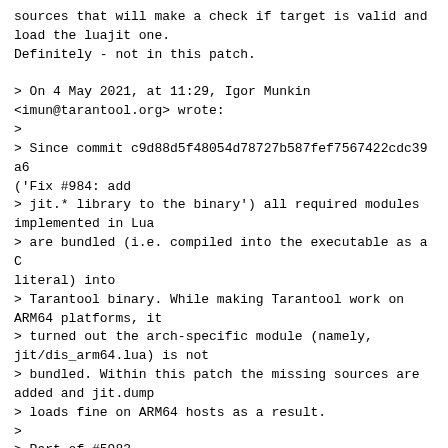sources that will make a check if target is valid and load the luajit one.
Definitely - not in this patch.

> On 4 May 2021, at 11:29, Igor Munkin <imun@tarantool.org> wrote:
>
> Since commit c9d88d5f48054d78727b587fef7567422cdc39a6 ('Fix #984: add
> jit.* library to the binary') all required modules implemented in Lua
> are bundled (i.e. compiled into the executable as a C literal) into
> Tarantool binary. While making Tarantool work on ARM64 platforms, it
> turned out the arch-specific module (namely, jit/dis_arm64.lua) is not
> bundled. Within this patch the missing sources are added and jit.dump
> loads fine on ARM64 hosts as a result.
>
> Part of #5983
> Relates to #5629
> Follows up #984
>
> Signed-off-by: Igor Munkin <imun@tarantool.org>
> ---
>
> Branch:
https://github.com/tarantool/tarantool/tree/imun/gh-